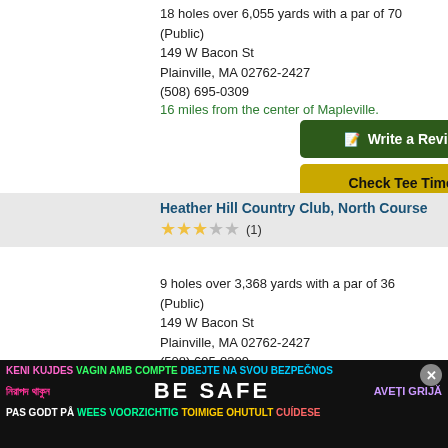18 holes over 6,055 yards with a par of 70
(Public)
149 W Bacon St
Plainville, MA 02762-2427
(508) 695-0309
16 miles from the center of Mapleville.
Write a Review
Check Tee Times
Heather Hill Country Club, North Course
3 stars (1 review)
9 holes over 3,368 yards with a par of 36
(Public)
149 W Bacon St
Plainville, MA 02762-2427
(508) 695-0309
16 miles from the center of Mapleville.
Write a Review
[Figure (infographic): Multilingual safety advertisement banner with text 'BE SAFE' in multiple languages including Bengali, Catalan, Czech, Dutch, English, Estonian, Finnish, Galician, Irish, Romanian. Close button visible.]